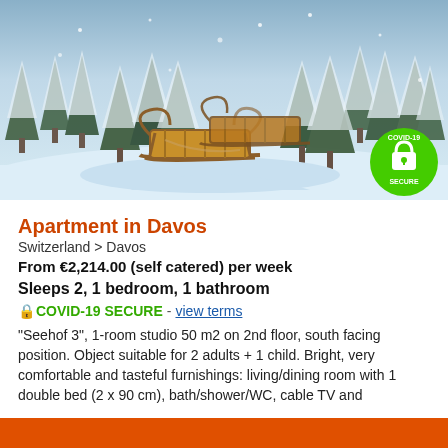[Figure (photo): Winter snow scene with wooden sleds/sledges in foreground and snow-covered pine trees in background. COVID-19 SECURE green circular badge in bottom right corner.]
Apartment in Davos
Switzerland > Davos
From €2,214.00 (self catered) per week
Sleeps 2, 1 bedroom, 1 bathroom
🔒 COVID-19 SECURE - view terms
"Seehof 3", 1-room studio 50 m2 on 2nd floor, south facing position. Object suitable for 2 adults + 1 child. Bright, very comfortable and tasteful furnishings: living/dining room with 1 double bed (2 x 90 cm), bath/shower/WC, cable TV and